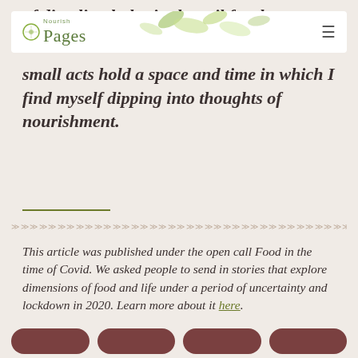Nourish Pages
of dimpling holes in the soil for them
small acts hold a space and time in which I find myself dipping into thoughts of nourishment.
This article was published under the open call Food in the time of Covid. We asked people to send in stories that explore dimensions of food and life under a period of uncertainty and lockdown in 2020. Learn more about it here.